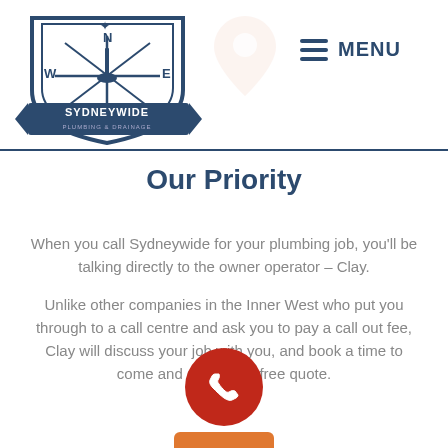[Figure (logo): Sydneywide Plumbing & Drainage shield logo with compass directions W, N, S, E and crossed tools]
[Figure (illustration): Light pink location pin icon watermark]
MENU
Directly From The Owner Operator – You Are
Our Priority
When you call Sydneywide for your plumbing job, you'll be talking directly to the owner operator – Clay.
Unlike other companies in the Inner West who put you through to a call centre and ask you to pay a call out fee, Clay will discuss your job with you, and book a time to come and give you a free quote.
[Figure (illustration): Red circular phone call button with white phone handset icon]